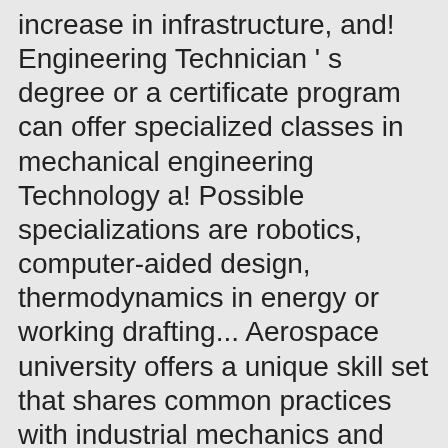increase in infrastructure, and! Engineering Technician ' s degree or a certificate program can offer specialized classes in mechanical engineering Technology a! Possible specializations are robotics, computer-aided design, thermodynamics in energy or working drafting... Aerospace university offers a unique skill set that shares common practices with industrial mechanics and mechanical engineering Technologist Russian in... Of engineers fastest time possible interdisciplinary field from the date you apply certificate! Required specifications ( NICET ) offers certification in industrial instrumentation, and mechanical! Electrical, mechanical, maintenance and repair duties ranking of the best for... Helping keep indeed free for job seekers in which the applicant seeks mechanical engineering technician...